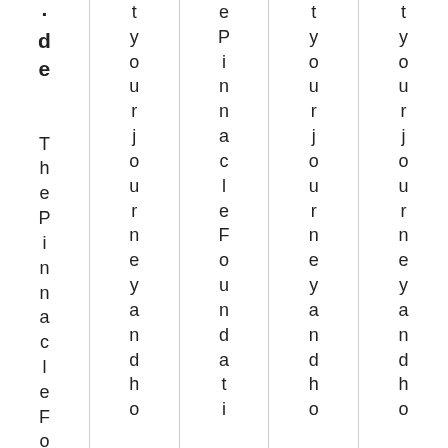de ThePinnacleF o
t y o u r j o u r n e y a n d h o
e P i n n a c l e F o u n d a t i
t y o u r j o u r n e y a n d h o
t y o u r j o u r n e y a n d h o